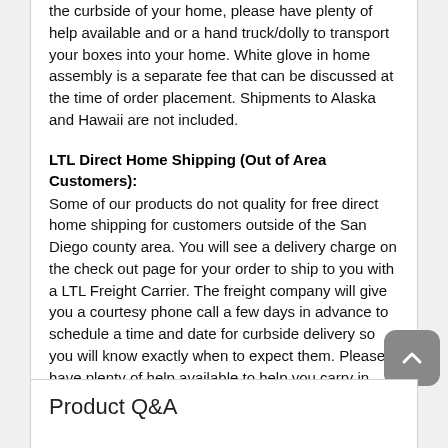the curbside of your home, please have plenty of help available and or a hand truck/dolly to transport your boxes into your home. White glove in home assembly is a separate fee that can be discussed at the time of order placement. Shipments to Alaska and Hawaii are not included.
LTL Direct Home Shipping (Out of Area Customers):
Some of our products do not quality for free direct home shipping for customers outside of the San Diego county area. You will see a delivery charge on the check out page for your order to ship to you with a LTL Freight Carrier. The freight company will give you a courtesy phone call a few days in advance to schedule a time and date for curbside delivery so you will know exactly when to expect them. Please have plenty of help available to help you carry in your goods since the driver is not responsible for inside delivery. Shipments to Alaska and Hawaii are not included.
Product Q&A